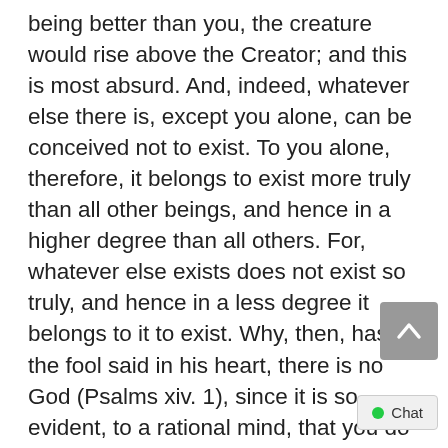being better than you, the creature would rise above the Creator; and this is most absurd. And, indeed, whatever else there is, except you alone, can be conceived not to exist. To you alone, therefore, it belongs to exist more truly than all other beings, and hence in a higher degree than all others. For, whatever else exists does not exist so truly, and hence in a less degree it belongs to it to exist. Why, then, has the fool said in his heart, there is no God (Psalms xiv. 1), since it is so evident, to a rational mind, that you do exist in the highest degree of all? Why, except that he is dull and a fool?Briefly explain and then evaluate this proof for the existence of God.(Points : 50) Question 4. 4. (TCO 11) Identify and analyze three basic patterns in indigenous religions. Use